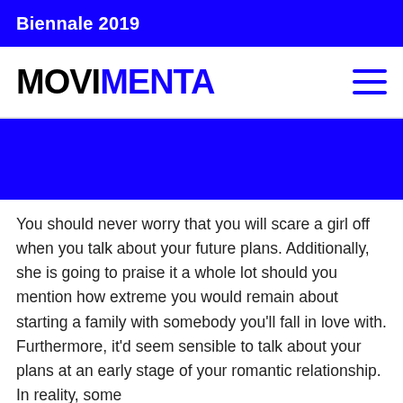Biennale 2019
MOVIMENTA
[Figure (other): Blue banner / hero image area]
You should never worry that you will scare a girl off when you talk about your future plans. Additionally, she is going to praise it a whole lot should you mention how extreme you would remain about starting a family with somebody you'll fall in love with. Furthermore, it'd seem sensible to talk about your plans at an early stage of your romantic relationship. In reality, some